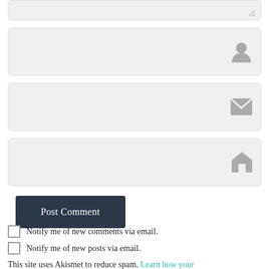[Figure (screenshot): Textarea input field with resize handle icon at bottom right]
[Figure (screenshot): Text input field with user/person icon on the right]
[Figure (screenshot): Text input field with email/envelope icon on the right]
[Figure (screenshot): Text input field with home/house icon on the right]
[Figure (screenshot): Post Comment button, dark navy background, white text]
Notify me of new comments via email.
Notify me of new posts via email.
This site uses Akismet to reduce spam. Learn how your